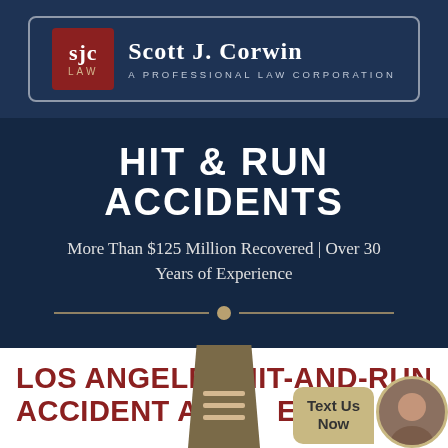[Figure (logo): Scott J. Corwin A Professional Law Corporation logo — dark navy bar with SJC in a red square and firm name in white serif text]
HIT & RUN ACCIDENTS
More Than $125 Million Recovered | Over 30 Years of Experience
LOS ANGELES HIT-AND-RUN ACCIDENT ATTORNEY